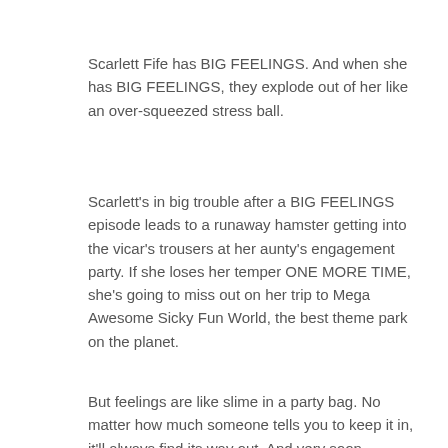Scarlett Fife has BIG FEELINGS. And when she has BIG FEELINGS, they explode out of her like an over-squeezed stress ball.
Scarlett's in big trouble after a BIG FEELINGS episode leads to a runaway hamster getting into the vicar's trousers at her aunty's engagement party. If she loses her temper ONE MORE TIME, she's going to miss out on her trip to Mega Awesome Sicky Fun World, the best theme park on the planet.
But feelings are like slime in a party bag. No matter how much someone tells you to keep it in, it'll always find its way out. And very soon, Scarlett notices that every time she pushes her feelings down, something explodes. Like … really, properly explodes.
It might be her teacher's slimy green smoothie. A huge pot of